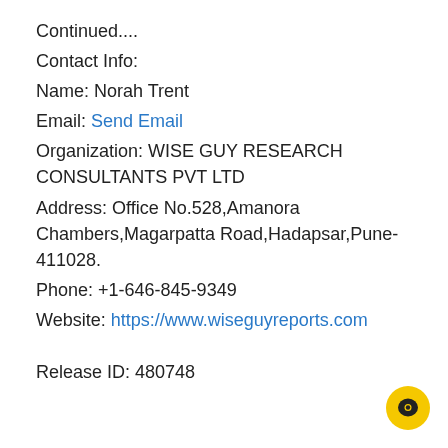Continued....
Contact Info:
Name: Norah Trent
Email: Send Email
Organization: WISE GUY RESEARCH CONSULTANTS PVT LTD
Address: Office No.528,Amanora Chambers,Magarpatta Road,Hadapsar,Pune-411028.
Phone: +1-646-845-9349
Website: https://www.wiseguyreports.com
Release ID: 480748